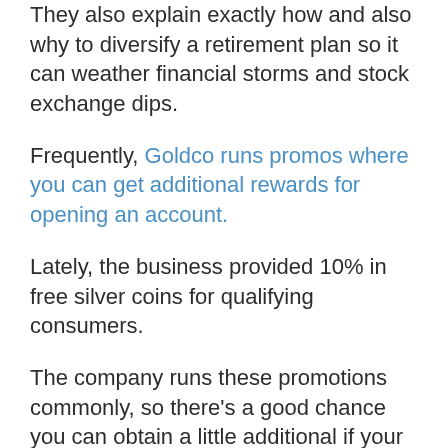They also explain exactly how and also why to diversify a retirement plan so it can weather financial storms and stock exchange dips.
Frequently, Goldco runs promos where you can get additional rewards for opening an account.
Lately, the business provided 10% in free silver coins for qualifying consumers.
The company runs these promotions commonly, so there's a good chance you can obtain a little additional if your timing is right.
As you most likely already determined now